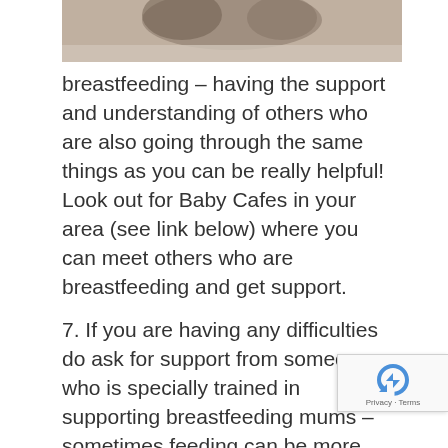[Figure (photo): Partial view of a baby/infant photograph, cropped at the top of the page]
breastfeeding – having the support and understanding of others who are also going through the same things as you can be really helpful! Look out for Baby Cafes in your area (see link below) where you can meet others who are breastfeeding and get support.
7. If you are having any difficulties do ask for support from someone who is specially trained in supporting breastfeeding mums – sometimes feeding can be more challenging and it does not mean you are 'failing' as a mum if you need a bit of support. Sometimes getting a different idea of how to hold your baby for a feed, or having someone check your baby's latch can be really helpful (see the links below).